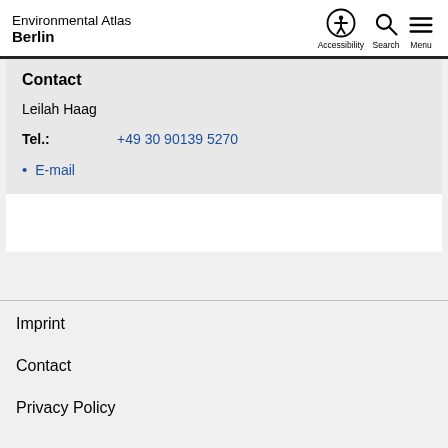Environmental Atlas Berlin
Contact
Leilah Haag
Tel.: +49 30 90139 5270
E-mail
Imprint
Contact
Privacy Policy